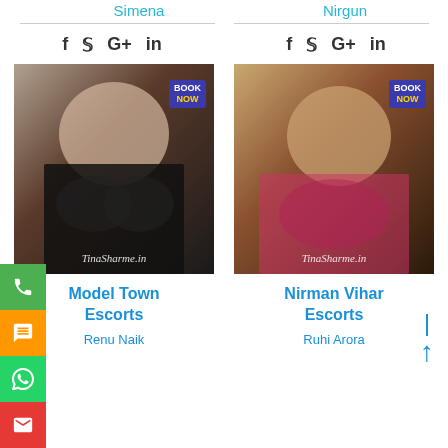Simena
Nirgun
[Figure (photo): Photo of a woman in black bra with 'BOOK NOW' badge and TinaSharme.in watermark]
Model Town Escorts
Renu Naik
[Figure (photo): Photo of a woman in pink bra with 'BOOK NOW' badge and TinaSharme.in watermark]
Nirman Vihar Escorts
Ruhi Arora